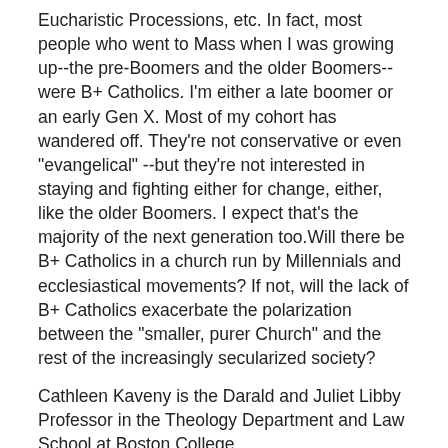Eucharistic Processions, etc. In fact, most people who went to Mass when I was growing up--the pre-Boomers and the older Boomers--were B+ Catholics. I'm either a late boomer or an early Gen X. Most of my cohort has wandered off. They're not conservative or even "evangelical" --but they're not interested in staying and fighting either for change, either, like the older Boomers. I expect that's the majority of the next generation too.Will there be B+ Catholics in a church run by Millennials and ecclesiastical movements? If not, will the lack of B+ Catholics exacerbate the polarization between the "smaller, purer Church" and the rest of the increasingly secularized society?
Cathleen Kaveny is the Darald and Juliet Libby Professor in the Theology Department and Law School at Boston College.
Please email comments to letters@commonwealmagazine.org [2] and join the conversation on our Facebook page [3].
Share
Share [4]